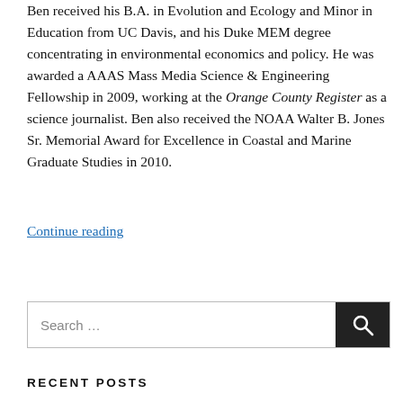Ben received his B.A. in Evolution and Ecology and Minor in Education from UC Davis, and his Duke MEM degree concentrating in environmental economics and policy. He was awarded a AAAS Mass Media Science & Engineering Fellowship in 2009, working at the Orange County Register as a science journalist. Ben also received the NOAA Walter B. Jones Sr. Memorial Award for Excellence in Coastal and Marine Graduate Studies in 2010.
Continue reading
Search …
RECENT POSTS